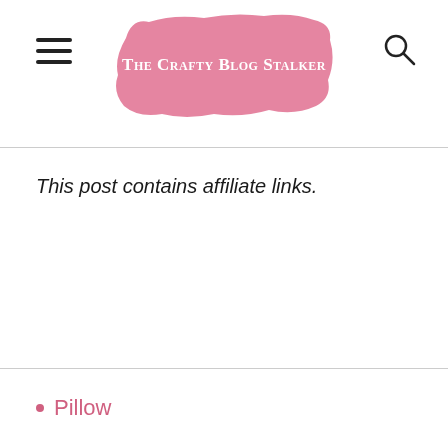The Crafty Blog Stalker
This post contains affiliate links.
Pillow